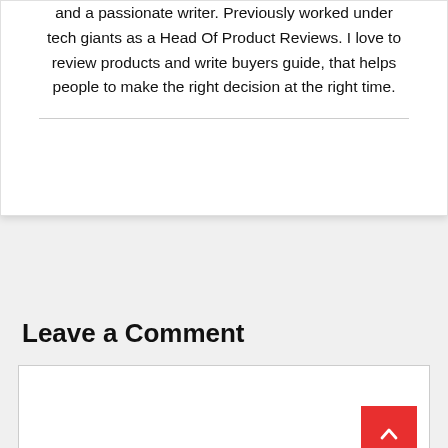Hi, I'm a Senimun Bornoday, a technologist, designer and a passionate writer. Previously worked under tech giants as a Head Of Product Reviews. I love to review products and write buyers guide, that helps people to make the right decision at the right time.
Leave a Comment